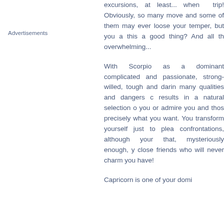Advertisements
excursions, at least... when trip! Obviously, so many move and some of them may ever loose your temper, but you a this a good thing? And all th overwhelming...
With Scorpio as a dominant complicated and passionate, strong-willed, tough and dari many qualities and dangers c results in a natural selection o you or admire you and thos precisely what you want. You transform yourself just to plea confrontations, although your that, mysteriously enough, y close friends who will never charm you have!
Capricorn is one of your domi